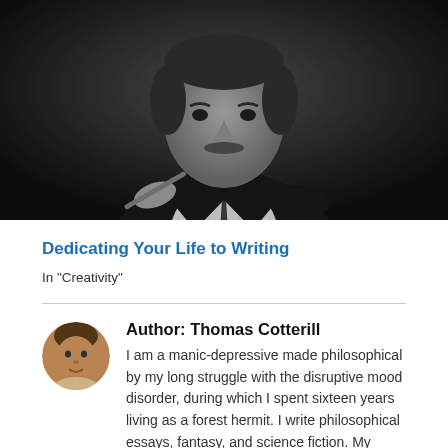[Figure (photo): Black and white photograph of a man with a mustache in a suit and tie, seated at a desk, holding a pen, appearing to be writing]
Dedicating Your Life to Writing
In "Creativity"
[Figure (photo): Small circular portrait photo of Thomas Cotterill, a middle-aged man]
Author: Thomas Cotterill
I am a manic-depressive made philosophical by my long struggle with the disruptive mood disorder, during which I spent sixteen years living as a forest hermit. I write philosophical essays, fantasy, and science fiction. My attempt to integrate creativity, psychology, philosophy,